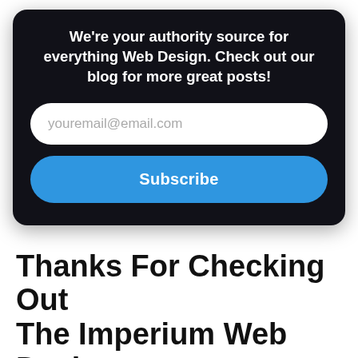We're your authority source for everything Web Design. Check out our blog for more great posts!
youremail@email.com
Subscribe
Thanks For Checking Out The Imperium Web Design Blog!